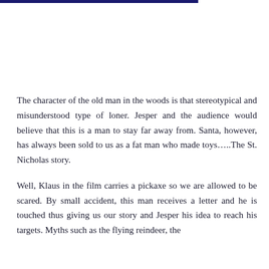The character of the old man in the woods is that stereotypical and misunderstood type of loner. Jesper and the audience would believe that this is a man to stay far away from. Santa, however, has always been sold to us as a fat man who made toys…..The St. Nicholas story.
Well, Klaus in the film carries a pickaxe so we are allowed to be scared. By small accident, this man receives a letter and he is touched thus giving us our story and Jesper his idea to reach his targets. Myths such as the flying reindeer, the